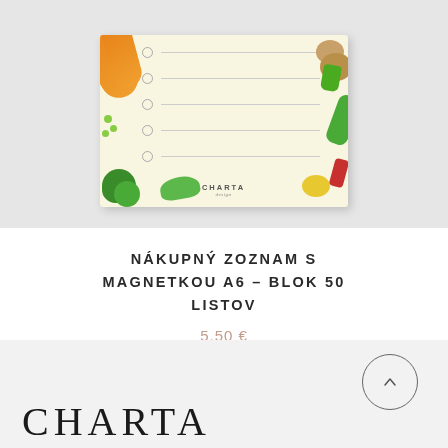[Figure (photo): Product photo of a shopping list notepad with magnetic backing (A6, 50 sheets). The notepad has a cream/beige background decorated with watercolor illustrations of vegetables (carrots, potatoes, broccoli, peppers, cucumbers, peas, beets) around the border. The notepad has 5 rows with small circles (checkboxes) and horizontal lines. The CHARTA design brand logo is printed at the bottom center of the notepad. The notepad sits on a light gray background.]
NÁKUPNÝ ZOZNAM S MAGNETKOU A6 – BLOK 50 LISTOV
5.50 €
[Figure (logo): CHARTA brand logo in large serif letters at the bottom of the page on a light gray footer background. A circular back-to-top button with an upward chevron arrow appears in the upper right of the footer.]